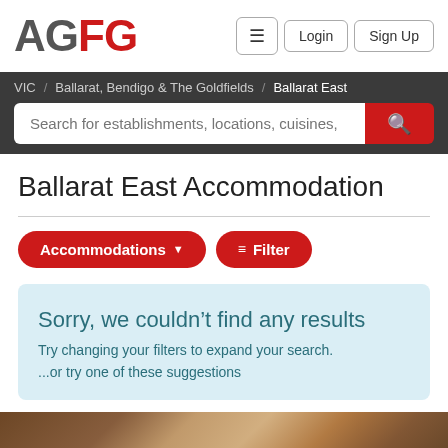AGFG | Login | Sign Up
VIC / Ballarat, Bendigo & The Goldfields / Ballarat East
Search for establishments, locations, cuisines,
Ballarat East Accommodation
Accommodations ▾  ≡ Filter
Sorry, we couldn’t find any results
Try changing your filters to expand your search.
...or try one of these suggestions
[Figure (photo): Partial view of a brown/wooden interior, bottom strip of page]